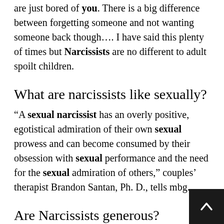are just bored of you. There is a big difference between forgetting someone and not wanting someone back though…. I have said this plenty of times but Narcissists are no different to adult spoilt children.
What are narcissists like sexually?
“A sexual narcissist has an overly positive, egotistical admiration of their own sexual prowess and can become consumed by their obsession with sexual performance and the need for the sexual admiration of others,” couples’ therapist Brandon Santan, Ph. D., tells mbg.
Are Narcissists generous?
Since narcissists are very interested in social status and influence, they use acts of generosity to appear noble and kind. Some examples of this are narcissi